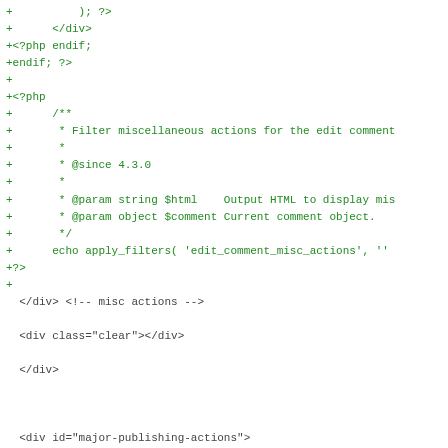[Figure (screenshot): Code diff screenshot showing PHP/HTML code with added lines in green and removed lines in red highlight. Shows changes to WordPress comment editing form including edit_comment_misc_actions filter and submitdelete deletion link markup changes.]